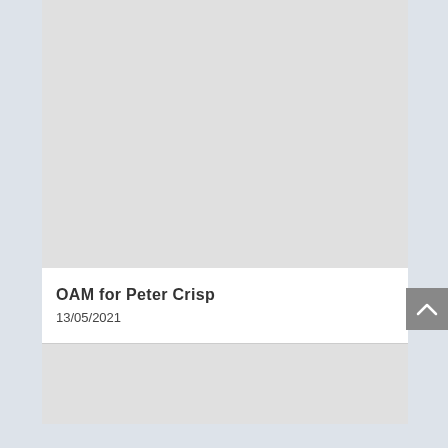[Figure (photo): Large grey placeholder image at the top of the article card]
OAM for Peter Crisp
13/05/2021
[Figure (photo): Partial grey placeholder image at the bottom of the page]